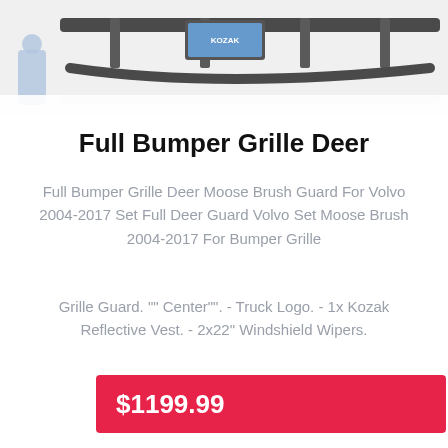[Figure (photo): Product photo of a full bumper grille deer guard for a Volvo truck, showing the metal guard/brush guard assembly with a license plate holder, partial view cropped at top of page]
Full Bumper Grille Deer
Full Bumper Grille Deer Moose Brush Guard For Volvo 2004-2017 Set Full Deer Guard Volvo Set Moose Brush 2004-2017 For Bumper Grille
Grille Guard. "" Center"". - Truck Logo. - 1x Kozak Reflective Vest. - 2x22" Windshield Wipers.
$1199.99